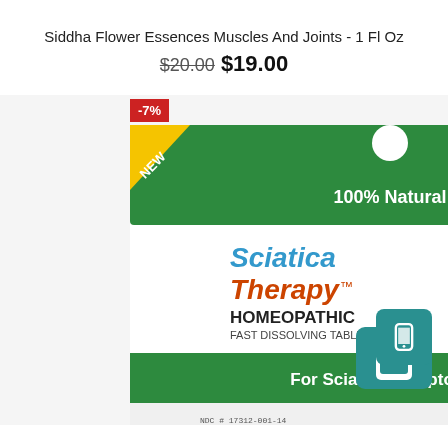Siddha Flower Essences Muscles And Joints - 1 Fl Oz
$20.00  $19.00
[Figure (photo): Product photo of Sciatica Therapy Homeopathic Fast Dissolving Tablets box, 100% Natural, For Sciatica Symptoms, with a -7% red discount badge and a teal mobile icon in the bottom right corner.]